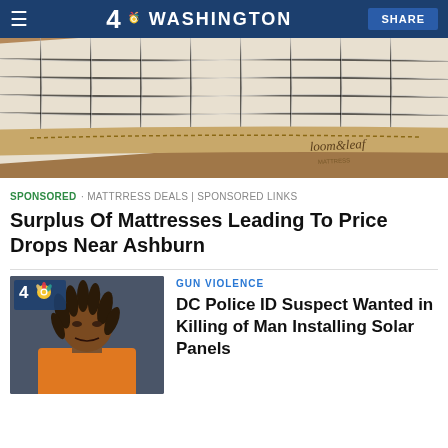4 NBC WASHINGTON | SHARE
[Figure (photo): Close-up photo of a white quilted Loom & Leaf mattress corner on a wooden floor]
SPONSORED · MATTRRESS DEALS | SPONSORED LINKS
Surplus Of Mattresses Leading To Price Drops Near Ashburn
[Figure (photo): NBC4 Washington news thumbnail showing a mugshot of a man with dreadlocks wearing an orange top]
GUN VIOLENCE
DC Police ID Suspect Wanted in Killing of Man Installing Solar Panels